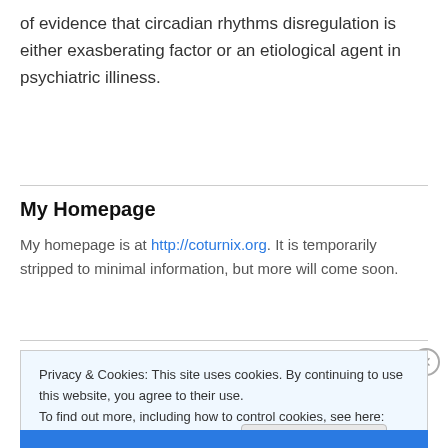of evidence that circadian rhythms disregulation is either exasberating factor or an etiological agent in psychiatric illiness.
My Homepage
My homepage is at http://coturnix.org. It is temporarily stripped to minimal information, but more will come soon.
Privacy & Cookies: This site uses cookies. By continuing to use this website, you agree to their use.
To find out more, including how to control cookies, see here: Cookie Policy